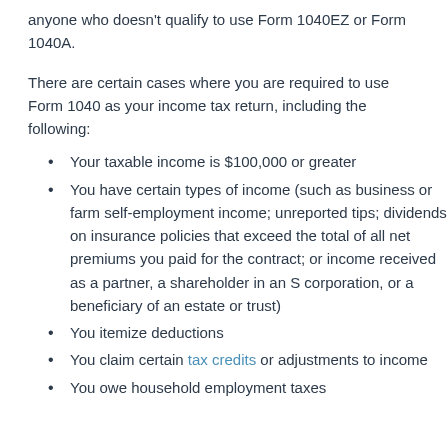anyone who doesn't qualify to use Form 1040EZ or Form 1040A.
There are certain cases where you are required to use Form 1040 as your income tax return, including the following:
Your taxable income is $100,000 or greater
You have certain types of income (such as business or farm self-employment income; unreported tips; dividends on insurance policies that exceed the total of all net premiums you paid for the contract; or income received as a partner, a shareholder in an S corporation, or a beneficiary of an estate or trust)
You itemize deductions
You claim certain tax credits or adjustments to income
You owe household employment taxes